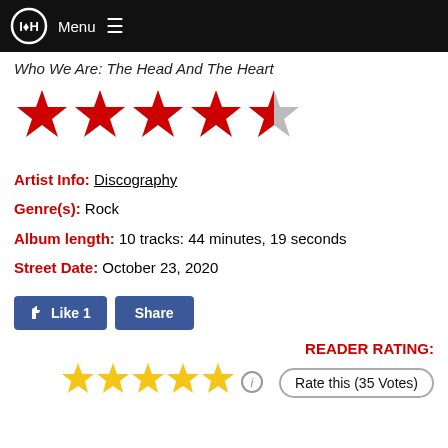Menu ☰
Who We Are: The Head And The Heart
[Figure (other): 4.5 out of 5 red stars rating]
Artist Info: Discography
Genre(s): Rock
Album length: 10 tracks: 44 minutes, 19 seconds
Street Date: October 23, 2020
[Figure (other): Like 1 and Share buttons]
READER RATING:
[Figure (other): 5 yellow stars reader rating with Rate this (35 Votes) button]